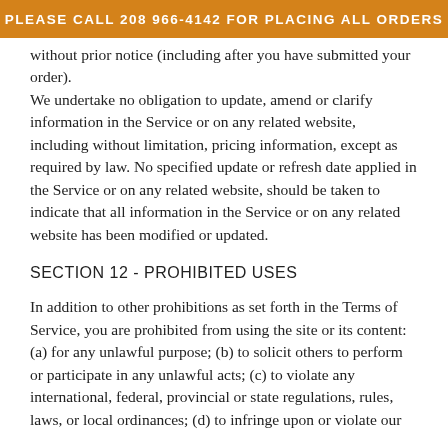PLEASE CALL 208 966-4142 FOR PLACING ALL ORDERS
without prior notice (including after you have submitted your order).
We undertake no obligation to update, amend or clarify information in the Service or on any related website, including without limitation, pricing information, except as required by law. No specified update or refresh date applied in the Service or on any related website, should be taken to indicate that all information in the Service or on any related website has been modified or updated.
SECTION 12 - PROHIBITED USES
In addition to other prohibitions as set forth in the Terms of Service, you are prohibited from using the site or its content: (a) for any unlawful purpose; (b) to solicit others to perform or participate in any unlawful acts; (c) to violate any international, federal, provincial or state regulations, rules, laws, or local ordinances; (d) to infringe upon or violate our intellectual property rights or the intellectual property rights of